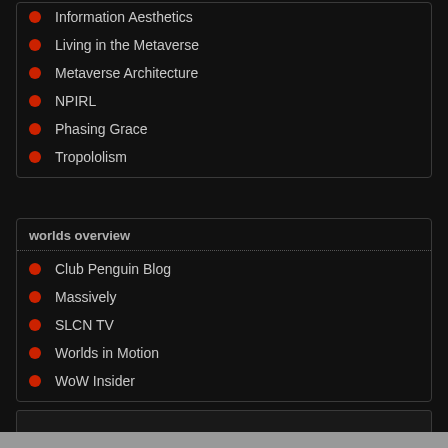Information Aesthetics
Living in the Metaverse
Metaverse Architecture
NPIRL
Phasing Grace
Tropololism
worlds overview
Club Penguin Blog
Massively
SLCN TV
Worlds in Motion
WoW Insider
© 2012 MUVEDesign
Suffusion theme by Sayontan Sinha